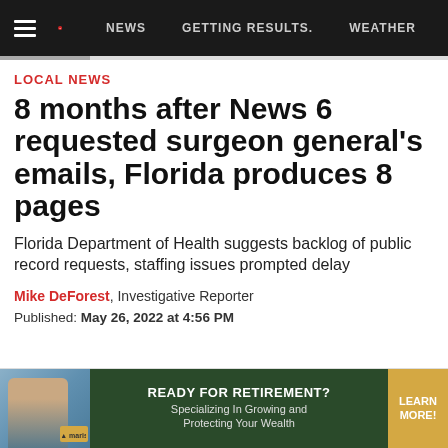NEWS | GETTING RESULTS. | WEATHER
LOCAL NEWS
8 months after News 6 requested surgeon general's emails, Florida produces 8 pages
Florida Department of Health suggests backlog of public record requests, staffing issues prompted delay
Mike DeForest, Investigative Reporter
Published: May 26, 2022 at 4:56 PM
[Figure (infographic): Advertisement banner: READY FOR RETIREMENT? Specializing In Growing and Protecting Your Wealth. LEARN MORE!]